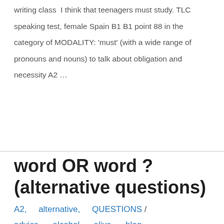writing class  I think that teenagers must study. TLC speaking test, female Spain B1 B1 point 88 in the category of MODALITY: 'must' (with a wide range of pronouns and nouns) to talk about obligation and necessity A2 …
Read More »
word OR word ? (alternative questions)
A2, alternative, QUESTIONS / advice, alcohol, alive, blog,